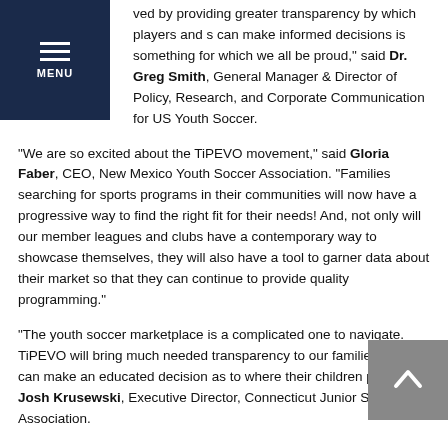[Figure (other): Navigation menu bar with hamburger icon and MENU label on dark navy background]
ved by providing greater transparency by which players and s can make informed decisions is something for which we all be proud," said Dr. Greg Smith, General Manager & Director of Policy, Research, and Corporate Communication for US Youth Soccer.
“We are so excited about the TiPEVO movement,” said Gloria Faber, CEO, New Mexico Youth Soccer Association. “Families searching for sports programs in their communities will now have a progressive way to find the right fit for their needs! And, not only will our member leagues and clubs have a contemporary way to showcase themselves, they will also have a tool to garner data about their market so that they can continue to provide quality programming.”
“The youth soccer marketplace is a complicated one to navigate. TiPEVO will bring much needed transparency to our families so they can make an educated decision as to where their children play,” said Josh Krusewski, Executive Director, Connecticut Junior Soccer Association.
“Louisiana Soccer Association is excited that TiPEVO and US Youth...